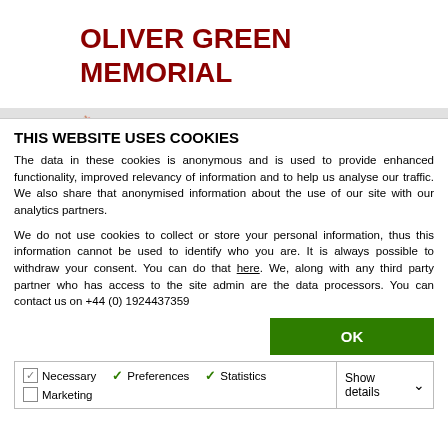OLIVER GREEN MEMORIAL
Written By David Reed
THIS WEBSITE USES COOKIES
The data in these cookies is anonymous and is used to provide enhanced functionality, improved relevancy of information and to help us analyse our traffic.  We also share that anonymised information about the use of our site with our analytics partners.
We do not use cookies to collect or store your personal information, thus this information cannot be used to identify who you are.  It is always possible to withdraw your consent. You can do that here. We, along with any third party partner who has access to the site admin are the data processors. You can contact us on +44 (0) 1924437359
OK
Necessary  Preferences  Statistics  Marketing  Show details